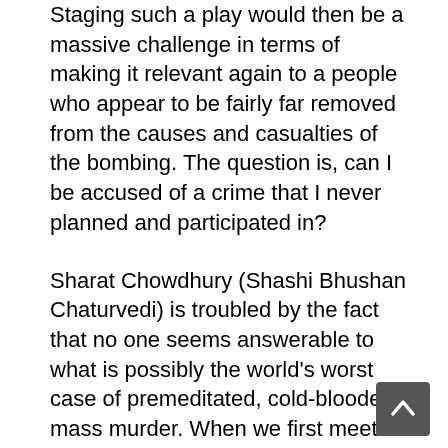Staging such a play would then be a massive challenge in terms of making it relevant again to a people who appear to be fairly far removed from the causes and casualties of the bombing. The question is, can I be accused of a crime that I never planned and participated in?
Sharat Chowdhury (Shashi Bhushan Chaturvedi) is troubled by the fact that no one seems answerable to what is possibly the world's worst case of premeditated, cold-blooded mass murder. When we first meet Sharat, he is wheel-chair bound while his mind appears to have left the confines of sanity. He receives a phone call from the thirtieth century, and from his side of the conversation, he appears to be defending the people of the twentieth century and their actions with respect to the war. His wife Vani (Shruti Vyas) feels that the clue to his insanity appears to lie with his physicist friend Sadhan